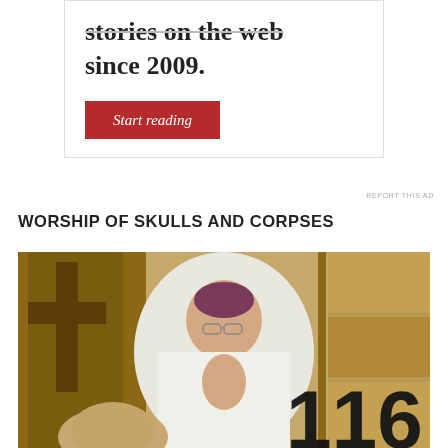[Figure (infographic): Advertisement box with bold text 'stories on the web since 2009.' and a red 'Start reading' button]
REPORT THIS AD
WORSHIP OF SKULLS AND CORPSES
[Figure (photo): A bishop in white vestments and purple zucchetto with hands pressed together in prayer, in front of ornate church decorations. A skull or relic is visible in the foreground. The number 116 is overlaid at the bottom right.]